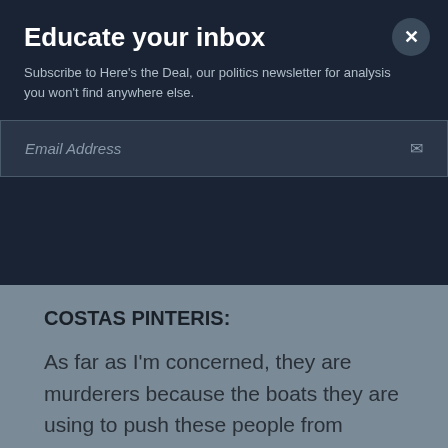Educate your inbox
Subscribe to Here's the Deal, our politics newsletter for analysis you won't find anywhere else.
Email Address
even helping others. It's a business. It's not like a (INAUDIBLE) or something.
COSTAS PINTERIS:
As far as I'm concerned, they are murderers because the boats they are using to push these people from Turkey are not seaworthy for this passage. They are